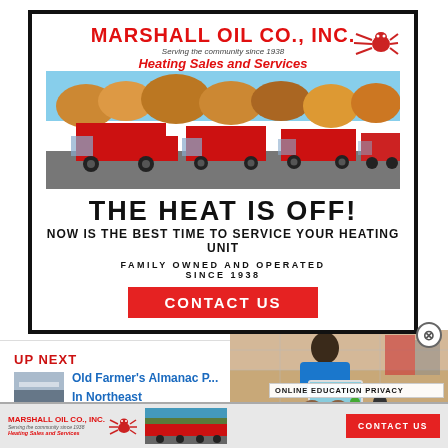[Figure (infographic): Marshall Oil Co., Inc. advertisement with company logo, fleet of red trucks photo, bold headline text, and contact us button]
MARSHALL OIL CO., INC.
Serving the community since 1938
Heating Sales and Services
[Figure (photo): Fleet of red oil delivery trucks parked in a lot with autumn trees in background]
THE HEAT IS OFF!
NOW IS THE BEST TIME TO SERVICE YOUR HEATING UNIT
FAMILY OWNED AND OPERATED SINCE 1938
CONTACT US
UP NEXT
Old Farmer's Almanac P... In Northeast
[Figure (photo): Child using a laptop computer]
ONLINE EDUCATION PRIVACY
[Figure (infographic): Marshall Oil Co. bottom banner ad with logo, truck photo, and contact us button]